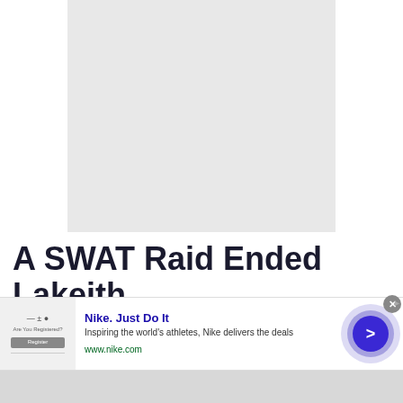[Figure (photo): Large light gray placeholder image area representing a photograph or image content area on the article page.]
A SWAT Raid Ended Lakeith
[Figure (screenshot): Advertisement banner: Nike. Just Do It — Inspiring the world's athletes, Nike delivers the deals. www.nike.com. Shows a small ad thumbnail image on the left, ad text in the center, and a circular purple/blue arrow button on the right. An X close button is visible at the top right of the ad.]